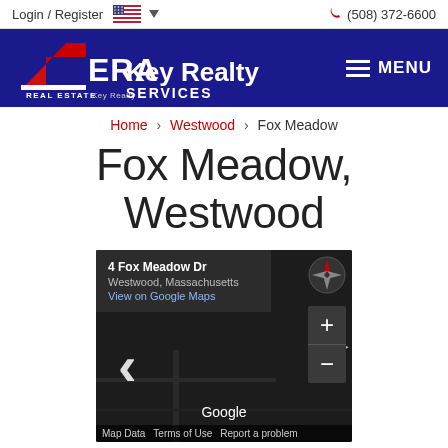Login / Register | (508) 372-6600
[Figure (logo): ERA Key Realty Services logo on navy background with hamburger menu icon and MENU text]
Home > Westwood > Fox Meadow
Fox Meadow, Westwood
[Figure (screenshot): Google Maps screenshot showing 4 Fox Meadow Dr, Westwood, Massachusetts with View on Google Maps link, dark map background, zoom controls, navigation arrow, and Google branding at bottom]